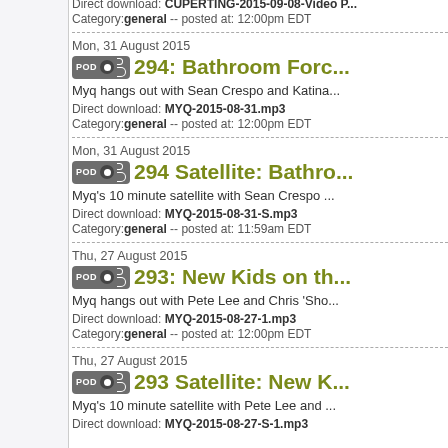Direct download: CUPERTING-2015-09-08-Video... Category: general -- posted at: 12:00pm EDT
Mon, 31 August 2015
294: Bathroom Forc...
Myq hangs out with Sean Crespo and Katina...
Direct download: MYQ-2015-08-31.mp3 Category: general -- posted at: 12:00pm EDT
Mon, 31 August 2015
294 Satellite: Bathro...
Myq's 10 minute satellite with Sean Crespo ...
Direct download: MYQ-2015-08-31-S.mp3 Category: general -- posted at: 11:59am EDT
Thu, 27 August 2015
293: New Kids on th...
Myq hangs out with Pete Lee and Chris 'Sho...
Direct download: MYQ-2015-08-27-1.mp3 Category: general -- posted at: 12:00pm EDT
Thu, 27 August 2015
293 Satellite: New K...
Myq's 10 minute satellite with Pete Lee and ...
Direct download: MYQ-2015-08-27-S-1.mp3